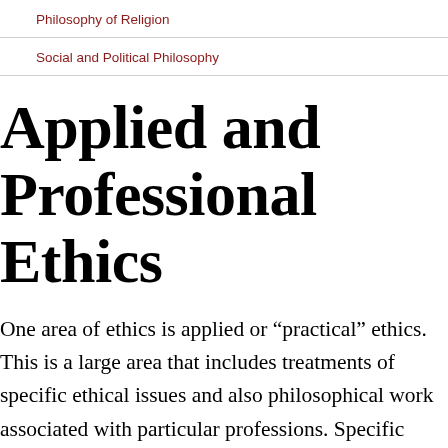Philosophy of Religion
Social and Political Philosophy
Applied and Professional Ethics
One area of ethics is applied or “practical” ethics. This is a large area that includes treatments of specific ethical issues and also philosophical work associated with particular professions. Specific issues include such questions as the morality of homosexuality, drug use and regulation, and gun control, as well as many others.